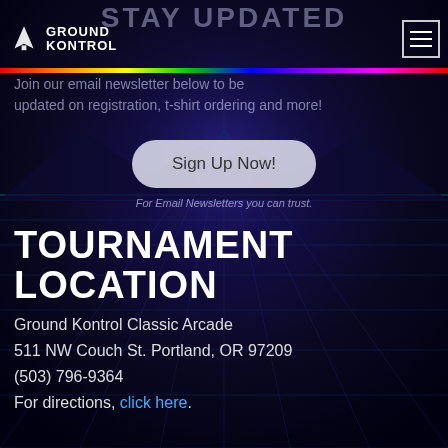STAY UPDATED
Ground Kontrol [logo + hamburger nav]
Join our email newsletter below to be updated on registration, t-shirt ordering and more!
Sign Up Now!
For Email Newsletters you can trust.
TOURNAMENT LOCATION
Ground Kontrol Classic Arcade
511 NW Couch St. Portland, OR 97209
(503) 796-9364
For directions, click here.